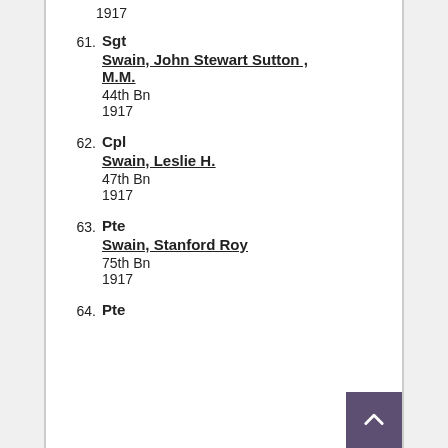1917
61. Sgt
Swain, John Stewart Sutton , M.M.
44th Bn
1917
62. Cpl
Swain, Leslie H.
47th Bn
1917
63. Pte
Swain, Stanford Roy
75th Bn
1917
64. Pte